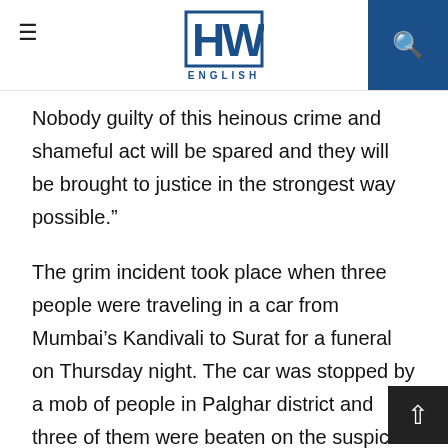HW ENGLISH
Nobody guilty of this heinous crime and shameful act will be spared and they will be brought to justice in the strongest way possible.”
The grim incident took place when three people were traveling in a car from Mumbai’s Kandivali to Surat for a funeral on Thursday night. The car was stopped by a mob of people in Palghar district and three of them were beaten on the suspicion of theft and kidnapping. The